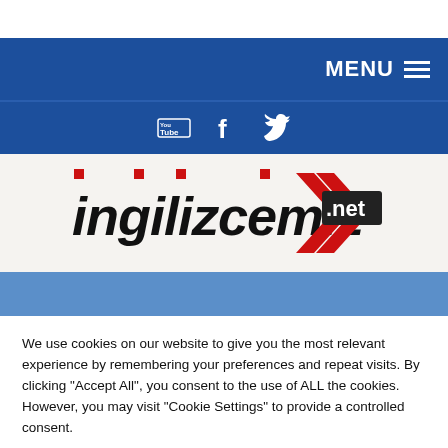[Figure (logo): ingilizcemiz.net logo with red decorative squares and red arrow shape]
We use cookies on our website to give you the most relevant experience by remembering your preferences and repeat visits. By clicking "Accept All", you consent to the use of ALL the cookies. However, you may visit "Cookie Settings" to provide a controlled consent.
Cookie Settings
Accept All